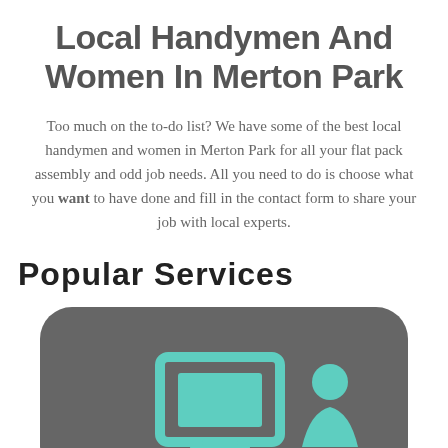Local Handymen And Women In Merton Park
Too much on the to-do list? We have some of the best local handymen and women in Merton Park for all your flat pack assembly and odd job needs. All you need to do is choose what you want to have done and fill in the contact form to share your job with local experts.
Popular Services
[Figure (illustration): A dark grey rounded rectangle card with a teal/mint coloured icon of a TV/monitor screen and what appears to be a person or figure silhouette, representing a service category.]